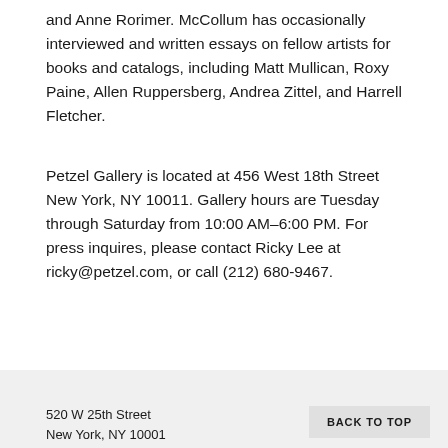and Anne Rorimer. McCollum has occasionally interviewed and written essays on fellow artists for books and catalogs, including Matt Mullican, Roxy Paine, Allen Ruppersberg, Andrea Zittel, and Harrell Fletcher.
Petzel Gallery is located at 456 West 18th Street New York, NY 10011. Gallery hours are Tuesday through Saturday from 10:00 AM–6:00 PM. For press inquires, please contact Ricky Lee at ricky@petzel.com, or call (212) 680-9467.
520 W 25th Street
New York, NY 10001